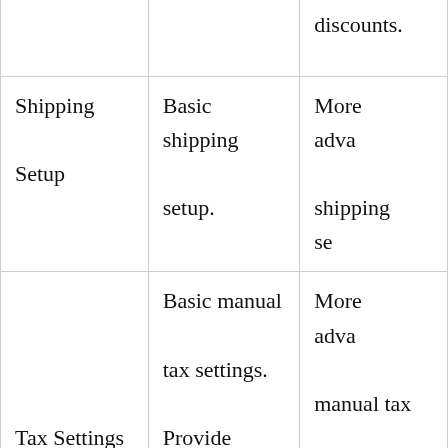| Feature | Basic | Advanced |
| --- | --- | --- |
|  |  | discounts. |
| Shipping Setup | Basic shipping setup. | More advanced shipping se... |
| Tax Settings | Basic manual tax settings. Provide automatic tax calculation. | More advanced manual tax settings and automatic t... calculation... |
Search for
1. BUSINESS WEBSITE BUILDER →
2. TOP 5 WEBSITE BUILDERS →